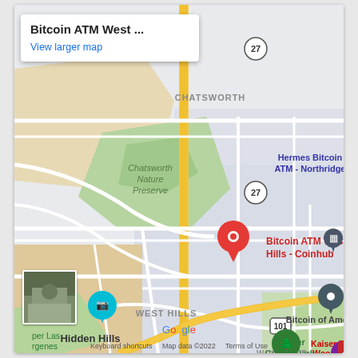[Figure (map): Google Maps screenshot showing West Hills area of Los Angeles with a red pin marker for 'Bitcoin ATM West Hills - Coinhub'. Surrounding landmarks include Chatsworth Nature Preserve, Hermes Bitcoin ATM - Northridge, Bitcoin of America, Warner Center Park, Kaiser Permanente Woodland Hills, Hidden Hills, and highway markers for routes 27 and 101.]
Bitcoin ATM West ...
View larger map
Keyboard shortcuts   Map data ©2022   Terms of Use